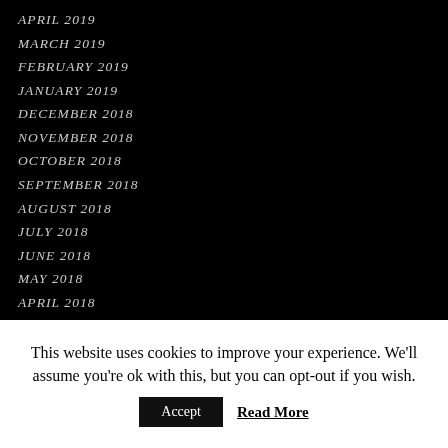APRIL 2019
MARCH 2019
FEBRUARY 2019
JANUARY 2019
DECEMBER 2018
NOVEMBER 2018
OCTOBER 2018
SEPTEMBER 2018
AUGUST 2018
JULY 2018
JUNE 2018
MAY 2018
APRIL 2018
This website uses cookies to improve your experience. We'll assume you're ok with this, but you can opt-out if you wish.
Accept  Read More